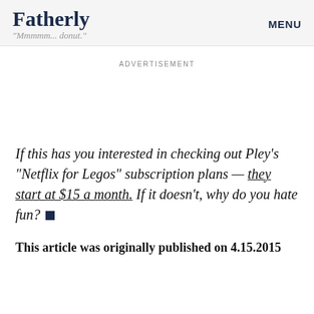Fatherly | "Mmmmm... donut." | MENU
ADVERTISEMENT
If this has you interested in checking out Pley’s “Netflix for Legos” subscription plans — they start at $15 a month. If it doesn’t, why do you hate fun?
This article was originally published on 4.15.2015